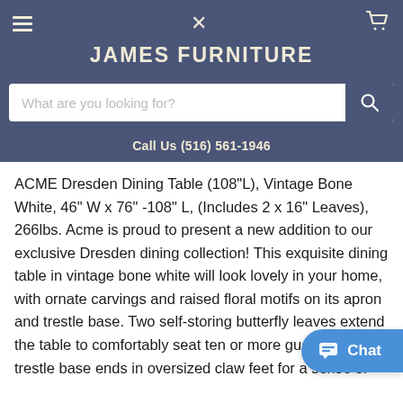JAMES FURNITURE
What are you looking for?
Call Us (516) 561-1946
ACME Dresden Dining Table (108"L), Vintage Bone White, 46" W x 76" -108" L, (Includes 2 x 16" Leaves), 266lbs. Acme is proud to present a new addition to our exclusive Dresden dining collection! This exquisite dining table in vintage bone white will look lovely in your home, with ornate carvings and raised floral motifs on its apron and trestle base. Two self-storing butterfly leaves extend the table to comfortably seat ten or more guests. The trestle base ends in oversized claw feet for a sense of grandeur. The matching side and arm chairs feature arched backs and PU upholstery that wraps around the outside seatback as well as the apron for a luxurious feel. Each piece in this collection has a hand-painted finish that is meticulously applied to create an antique look to complete your